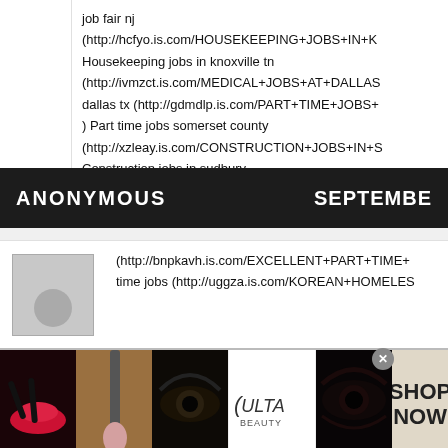job fair nj
(http://hcfyo.is.com/HOUSEKEEPING+JOBS+IN+K
Housekeeping jobs in knoxville tn
(http://ivmzct.is.com/MEDICAL+JOBS+AT+DALLAS
dallas tx (http://gdmdlp.is.com/PART+TIME+JOBS+
) Part time jobs somerset county
(http://xzleay.is.com/CONSTRUCTION+JOBS+IN+S
Construction jobs in sudbury
ANONYMOUS
SEPTEMBER
(http://bnpkavh.is.com/EXCELLENT+PART+TIME+
time jobs (http://uggza.is.com/KOREAN+HOMELES
[Figure (screenshot): Ulta beauty advertisement banner with makeup images, logo, and SHOP NOW button]